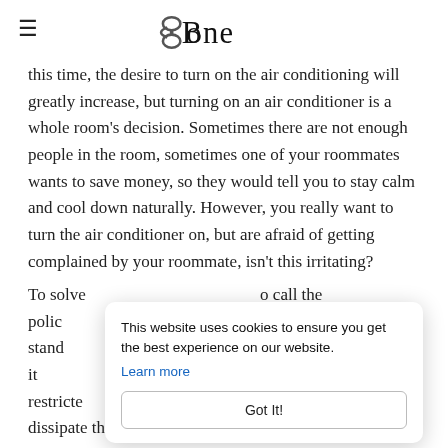≡  Bone
this time, the desire to turn on the air conditioning will greatly increase, but turning on an air conditioner is a whole room's decision. Sometimes there are not enough people in the room, sometimes one of your roommates wants to save money, so they would tell you to stay calm and cool down naturally. However, you really want to turn the air conditioner on, but are afraid of getting complained by your roommate, isn't this irritating?
To solve … o call the polic … . Unlike a stand … o matter it … is not restricte … dissipate the sultry heat and solve the bedroom
This website uses cookies to ensure you get the best experience on our website. Learn more Got It!